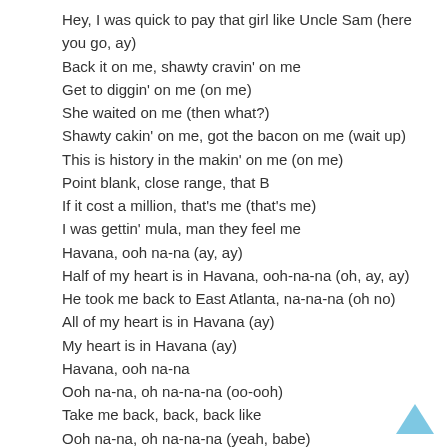Hey, I was quick to pay that girl like Uncle Sam (here you go, ay)
Back it on me, shawty cravin' on me
Get to diggin' on me (on me)
She waited on me (then what?)
Shawty cakin' on me, got the bacon on me (wait up)
This is history in the makin' on me (on me)
Point blank, close range, that B
If it cost a million, that's me (that's me)
I was gettin' mula, man they feel me
Havana, ooh na-na (ay, ay)
Half of my heart is in Havana, ooh-na-na (oh, ay, ay)
He took me back to East Atlanta, na-na-na (oh no)
All of my heart is in Havana (ay)
My heart is in Havana (ay)
Havana, ooh na-na
Ooh na-na, oh na-na-na (oo-ooh)
Take me back, back, back like
Ooh na-na, oh na-na-na (yeah, babe)